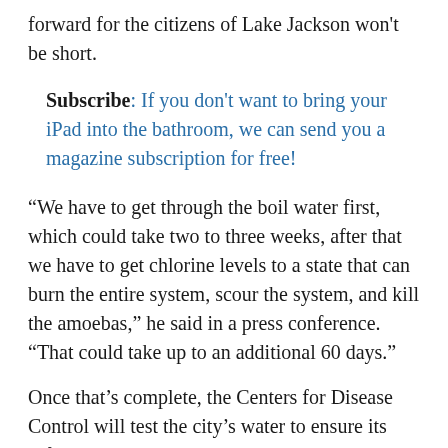forward for the citizens of Lake Jackson won't be short.
Subscribe: If you don't want to bring your iPad into the bathroom, we can send you a magazine subscription for free!
“We have to get through the boil water first, which could take two to three weeks, after that we have to get chlorine levels to a state that can burn the entire system, scour the system, and kill the amoebas,” he said in a press conference. “That could take up to an additional 60 days.”
Once that’s complete, the Centers for Disease Control will test the city’s water to ensure its safety. In the meantime, residents have been advised to boil water